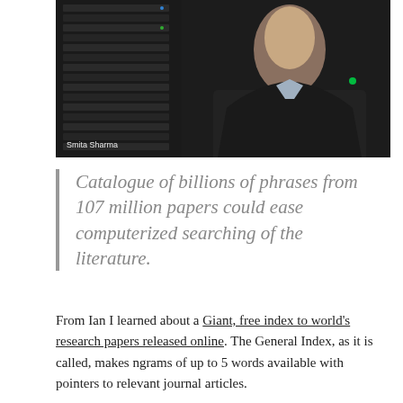[Figure (photo): Man in dark suit jacket standing in front of server racks in a data center. Photo credit: Smita Sharma]
Catalogue of billions of phrases from 107 million papers could ease computerized searching of the literature.
From Ian I learned about a Giant, free index to world's research papers released online. The General Index, as it is called, makes ngrams of up to 5 words available with pointers to relevant journal articles.
The massive index is available from the Internet Archive here. Here is how it is described.